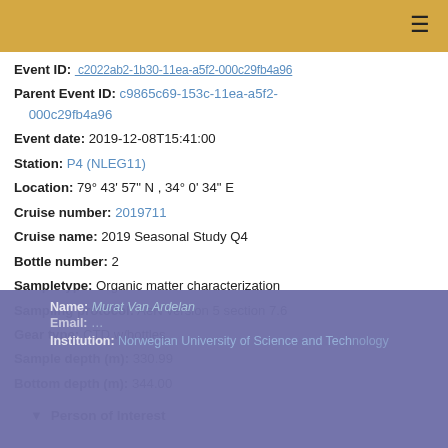ESIOS - Norwegian Marine Data Centre
Event ID: [truncated link]
Parent Event ID: c9865c69-153c-11ea-a5f2-000c29fb4a96
Event date: 2019-12-08T15:41:00
Station: P4 (NLEG11)
Location: 79° 43' 57" N , 34° 0' 34" E
Cruise number: 2019711
Cruise name: 2019 Seasonal Study Q4
Bottle number: 2
Sampletype: Organic matter characterization
Sampling protocol: AeN version 5 section 7.6
Gear type: CTD w/bottles
Sample depth (m): 330.99
Bottom depth (m): 344.00
▼ Person of Interest
Name: Murat Van Ardelan
Email: [partially visible]
Institution: Norwegian University of Science and Technology
► Show more metadata
ESIOS is only using cookies for functional purposes.
We do not use advertising services.
I've read it   More information